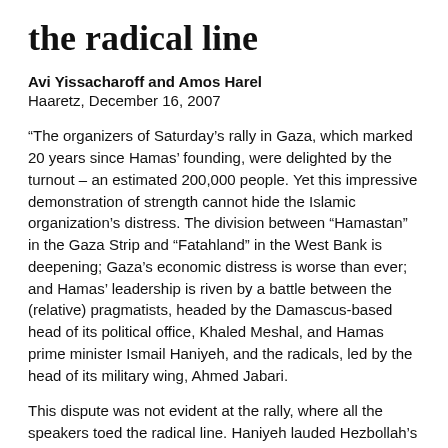the radical line
Avi Yissacharoff and Amos Harel
Haaretz, December 16, 2007
“The organizers of Saturday’s rally in Gaza, which marked 20 years since Hamas’ founding, were delighted by the turnout – an estimated 200,000 people. Yet this impressive demonstration of strength cannot hide the Islamic organization’s distress. The division between “Hamastan” in the Gaza Strip and “Fatahland” in the West Bank is deepening; Gaza’s economic distress is worse than ever; and Hamas’ leadership is riven by a battle between the (relative) pragmatists, headed by the Damascus-based head of its political office, Khaled Meshal, and Hamas prime minister Ismail Haniyeh, and the radicals, led by the head of its military wing, Ahmed Jabari.
This dispute was not evident at the rally, where all the speakers toed the radical line. Haniyeh lauded Hezbollah’s activities in Lebanon and Al-Qaida’s in Iraq and Afghanistan, linking them to Hamas’ operations in Gaza to argue that only “resistance” (i.e. violence) succeeds. He said Hamas will never recognize Israel and has made resistance its strategic choice. Meshal, in a